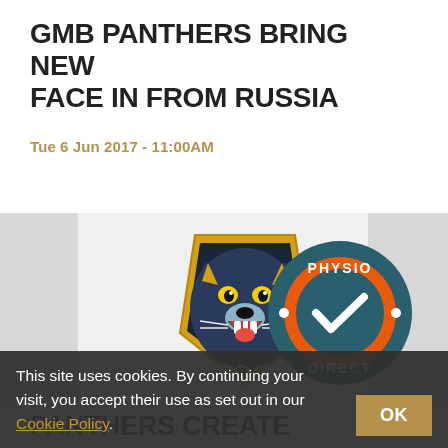GMB PANTHERS BRING NEW FACE IN FROM RUSSIA
Tue 6 Jun 2017 - 11:00AM
READ MORE
[Figure (logo): GMB Panthers ice hockey team logo (panther mascot in gold shield) alongside Physio Direct circular logo (orange checkmark on teal background)]
This site uses cookies. By continuing your visit, you accept their use as set out in our Cookie Policy.
OK
PANTHERS CREATE